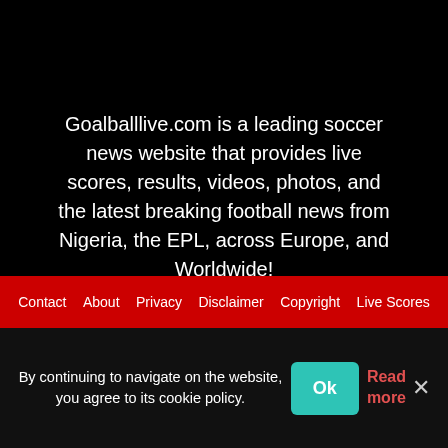Goalballlive.com is a leading soccer news website that provides live scores, results, videos, photos, and the latest breaking football news from Nigeria, the EPL, across Europe, and Worldwide!
Contact  About  Privacy  Disclaimer  Copyright  Live Scores
By continuing to navigate on the website, you agree to its cookie policy.